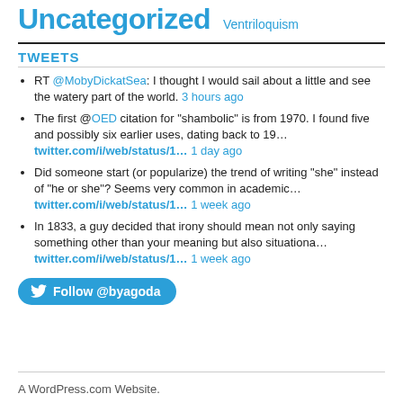Uncategorized Ventriloquism
TWEETS
RT @MobyDickatSea: I thought I would sail about a little and see the watery part of the world. 3 hours ago
The first @OED citation for "shambolic" is from 1970. I found five and possibly six earlier uses, dating back to 19… twitter.com/i/web/status/1… 1 day ago
Did someone start (or popularize) the trend of writing "she" instead of "he or she"? Seems very common in academic… twitter.com/i/web/status/1… 1 week ago
In 1833, a guy decided that irony should mean not only saying something other than your meaning but also situationa… twitter.com/i/web/status/1… 1 week ago
Follow @byagoda
A WordPress.com Website.